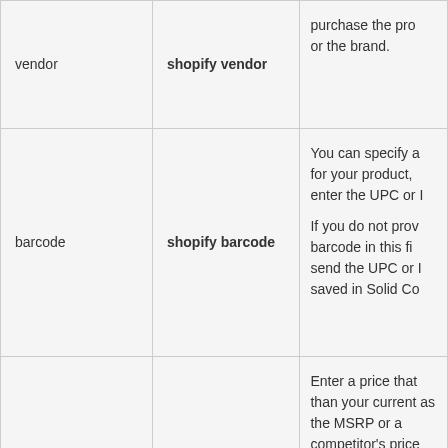| vendor | shopify vendor | purchase the pro or the brand. |
| barcode | shopify barcode | You can specify a for your product, enter the UPC or I

If you do not prov barcode in this fi send the UPC or I saved in Solid Co |
| compare_at_price | shopify | Enter a price that than your current as the MSRP or a competitor's price will automatically this price with a |